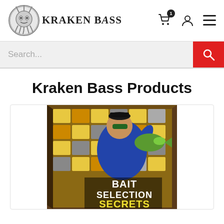[Figure (logo): Kraken Bass logo: circular emblem with tentacles on left, stylized text 'KRAKEN BASS' on right]
[Figure (screenshot): Header navigation icons: shopping cart with badge '1', user account icon, hamburger menu icon]
[Figure (screenshot): Search bar with placeholder text 'Search...' and red search button with magnifying glass icon]
Kraken Bass Products
[Figure (photo): Product box image showing a person holding a large bass fish in front of a tackle store wall, with text 'BAIT SELECTION SECRETS' on the box]